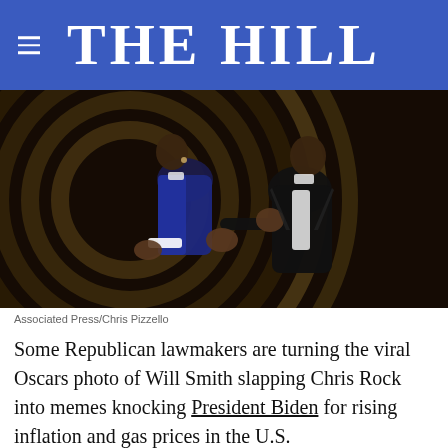THE HILL
[Figure (photo): Photo of Will Smith slapping Chris Rock at the Oscars, two men in tuxedos, one striking the other on stage with concentric gold circles in background]
Associated Press/Chris Pizzello
Some Republican lawmakers are turning the viral Oscars photo of Will Smith slapping Chris Rock into memes knocking President Biden for rising inflation and gas prices in the U.S.